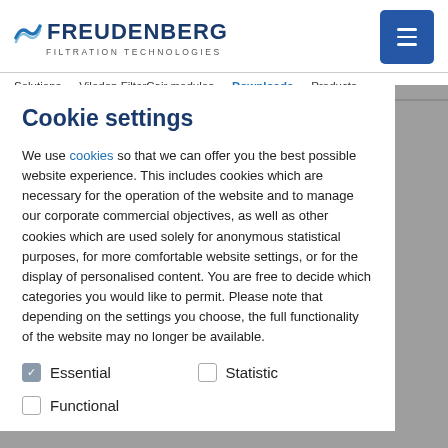FREUDENBERG FILTRATION TECHNOLOGIES
Solutions   Viledon FilterCair modules   Downloads   Products
Cookie settings
We use cookies so that we can offer you the best possible website experience. This includes cookies which are necessary for the operation of the website and to manage our corporate commercial objectives, as well as other cookies which are used solely for anonymous statistical purposes, for more comfortable website settings, or for the display of personalised content. You are free to decide which categories you would like to permit. Please note that depending on the settings you choose, the full functionality of the website may no longer be available.
Essential
Statistic
Functional